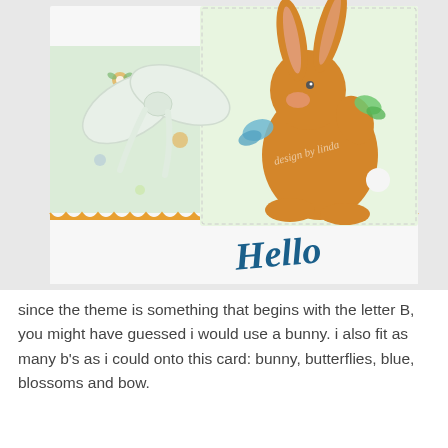[Figure (photo): A handmade greeting card featuring an orange bunny rabbit with long ears, surrounded by blue and green butterflies, sitting on a floral patterned paper with an orange border and scalloped edge. A white ribbon bow is on the left side. The word 'Hello' is written in teal script at the bottom of the card.]
since the theme is something that begins with the letter B, you might have guessed i would use a bunny. i also fit as many b's as i could onto this card: bunny, butterflies, blue, blossoms and bow.